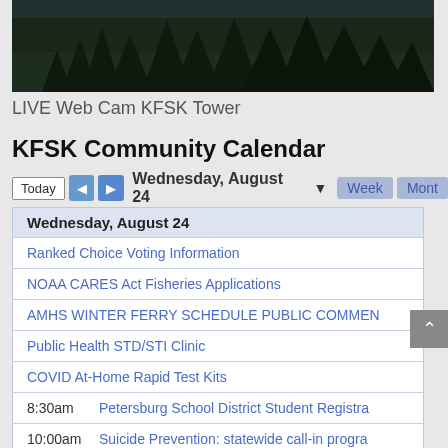[Figure (photo): Live webcam image of KFSK Tower, dark forest silhouette at night/dusk]
LIVE Web Cam KFSK Tower
KFSK Community Calendar
Today  ◄  ► Wednesday, August 24 ▼  Week  Month
| Wednesday, August 24 |
| Ranked Choice Voting Information |
| NOAA CARES Act Fisheries Applications |
| AMHS WINTER FERRY SCHEDULE PUBLIC COMME... |
| Public Health STD/STI Clinic |
| COVID At-Home Rapid Test Kits |
| 8:30am | Petersburg School District Student Registra... |
| 10:00am | Suicide Prevention: statewide call-in progra... |
| 5:15pm | Mitkof Middle School cross country practice |
| 6:00pm | Free Supper for all at First Baptist Church, S... |
| 6:30pm | Homegrown Conversations: podcast produc... |
| 7:30pm | Ragnarok Rollers Practice |
| Thursday, August 25 |